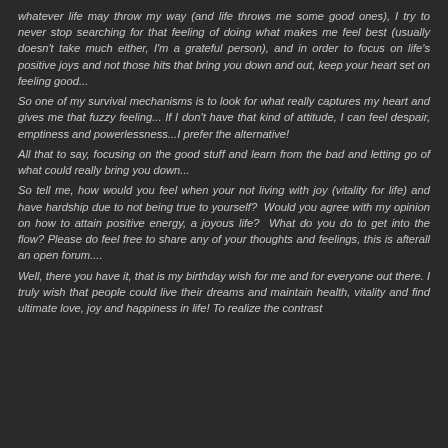whatever life may throw my way (and life throws me some good ones), I try to never stop searching for that feeling of doing what makes me feel best (usually doesn't take much either, I'm a grateful person), and in order to focus on life's positive joys and not those hits that bring you down and out, keep your heart set on feeling good...
So one of my survival mechanisms is to look for what really captures my heart and gives me that fuzzy feeling... If I don't have that kind of attitude, I can feel despair, emptiness and powerlessness...I prefer the alternative!
All that to say, focusing on the good stuff and learn from the bad and letting go of what could really bring you down...
So tell me, how would you feel when your not living with joy (vitality for life) and have hardship due to not being true to yourself? Would you agree with my opinion on how to attain positive energy, a joyous life? What do you do to get into the flow? Please do feel free to share any of your thoughts and feelings, this is afterall an open forum....
Well, there you have it, that is my birthday wish for me and for everyone out there. I truly wish that people could live their dreams and maintain health, vitality and find ultimate love, joy and happiness in life! To realize the contrast